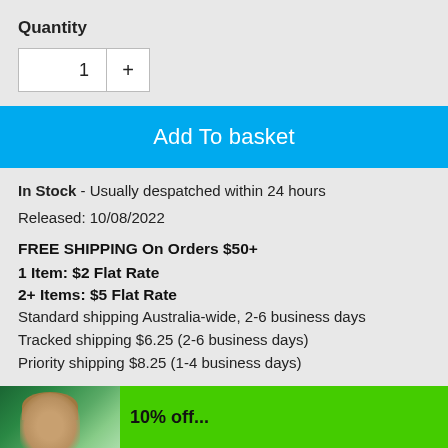Quantity
1
Add To basket
In Stock - Usually despatched within 24 hours
Released: 10/08/2022
FREE SHIPPING On Orders $50+
1 Item: $2 Flat Rate
2+ Items: $5 Flat Rate
Standard shipping Australia-wide, 2-6 business days
Tracked shipping $6.25 (2-6 business days)
Priority shipping $8.25 (1-4 business days)
[Figure (photo): Bottom banner showing a person's head and green promotional area with partial text '10% off...']